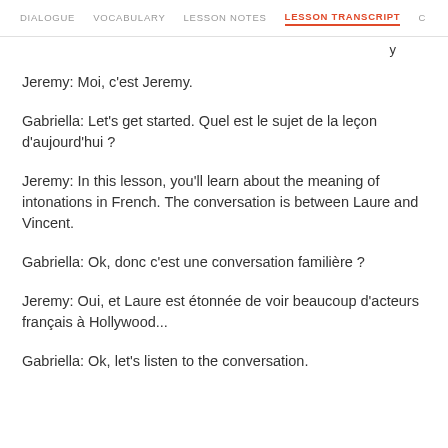DIALOGUE   VOCABULARY   LESSON NOTES   LESSON TRANSCRIPT   C
Jeremy: Moi, c'est Jeremy.
Gabriella: Let's get started. Quel est le sujet de la leçon d'aujourd'hui ?
Jeremy: In this lesson, you'll learn about the meaning of intonations in French. The conversation is between Laure and Vincent.
Gabriella: Ok, donc c'est une conversation familière ?
Jeremy: Oui, et Laure est étonnée de voir beaucoup d'acteurs français à Hollywood...
Gabriella: Ok, let's listen to the conversation.